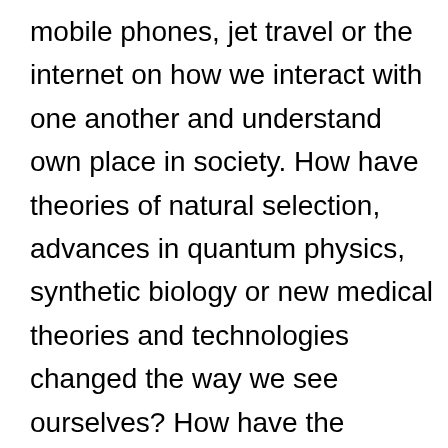mobile phones, jet travel or the internet on how we interact with one another and understand own place in society. How have theories of natural selection, advances in quantum physics, synthetic biology or new medical theories and technologies changed the way we see ourselves? How have the politics of climate change influenced the science of climate change? Scholars in Science, Technology and Innovation Studies tackle such thorny issues. We seek to answer the big questions about how societies both influence and are influenced by science, medicine and